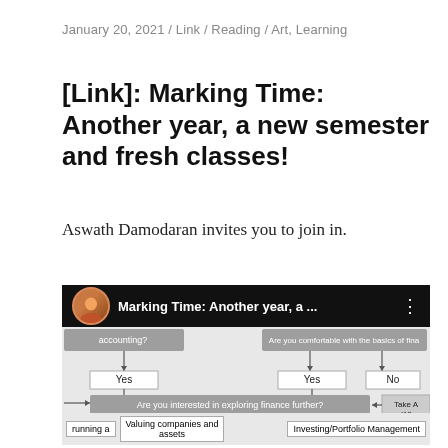January 20, 2021 / Link / Reading / Art, Learning
[Link]: Marking Time: Another year, a new semester and fresh classes!
Aswath Damodaran invites you to join in.
[Figure (screenshot): Video thumbnail showing 'Marking Time: Another year, a ...' with a flowchart decision diagram below about finance courses, asking questions like 'Are you comfortable with the basics of finance/accounting?', 'Are you interested in exploring finance further?', and 'What area of finance are you most interested in?' with branches for Yes/No answers leading to options like 'Valuing companies and assets' and 'Investing/Portfolio Management'.]